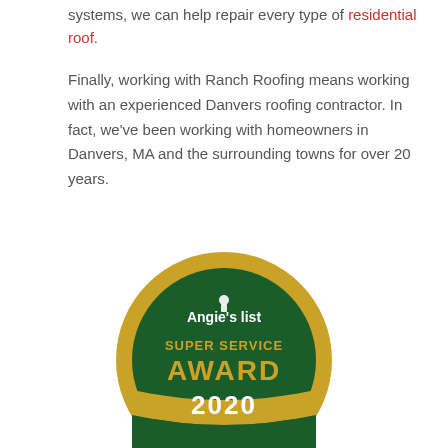systems, we can help repair every type of residential roof.
Finally, working with Ranch Roofing means working with an experienced Danvers roofing contractor. In fact, we've been working with homeowners in Danvers, MA and the surrounding towns for over 20 years.
[Figure (illustration): Angie's List Super Service Award 2020 badge — a circular gold and dark green medal with 'Angie's list' at the top, 'SUPER SERVICE' in the middle, 'AWARD' in large letters, and '2020' at the bottom.]